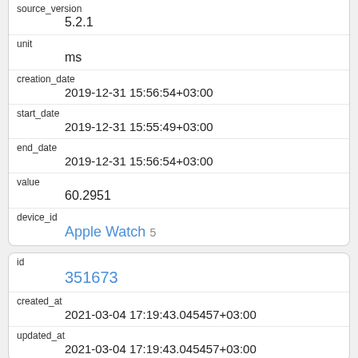| source_version | 5.2.1 |
| unit | ms |
| creation_date | 2019-12-31 15:56:54+03:00 |
| start_date | 2019-12-31 15:55:49+03:00 |
| end_date | 2019-12-31 15:56:54+03:00 |
| value | 60.2951 |
| device_id | Apple Watch 5 |
| id | 351673 |
| created_at | 2021-03-04 17:19:43.045457+03:00 |
| updated_at | 2021-03-04 17:19:43.045457+03:00 |